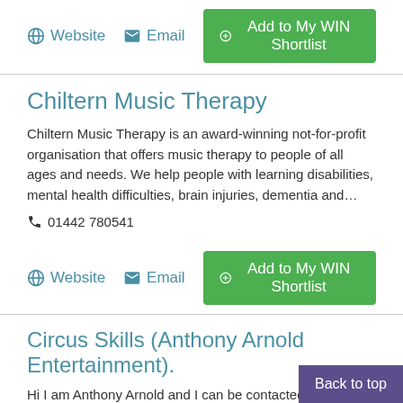Website   Email   + Add to My WIN Shortlist
Chiltern Music Therapy
Chiltern Music Therapy is an award-winning not-for-profit organisation that offers music therapy to people of all ages and needs. We help people with learning disabilities, mental health difficulties, brain injuries, dementia and…
📞 01442 780541
Website   Email   + Add to My WIN Shortlist
Circus Skills (Anthony Arnold Entertainment).
Hi I am Anthony Arnold and I can be contacted for a range of activities and workshops. I put on a range of circus s
Back to top